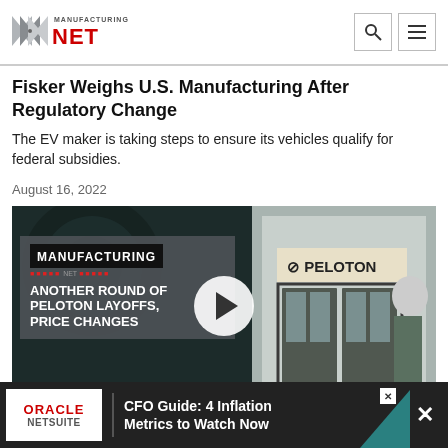Manufacturing NET
Fisker Weighs U.S. Manufacturing After Regulatory Change
The EV maker is taking steps to ensure its vehicles qualify for federal subsidies.
August 16, 2022
[Figure (screenshot): Video thumbnail showing Manufacturing.net logo overlay card with text 'ANOTHER ROUND OF PELOTON LAYOFFS, PRICE CHANGES' and a play button, with a Peloton store front visible in the background]
[Figure (screenshot): Advertisement banner: Oracle NetSuite - CFO Guide: 4 Inflation Metrics to Watch Now]